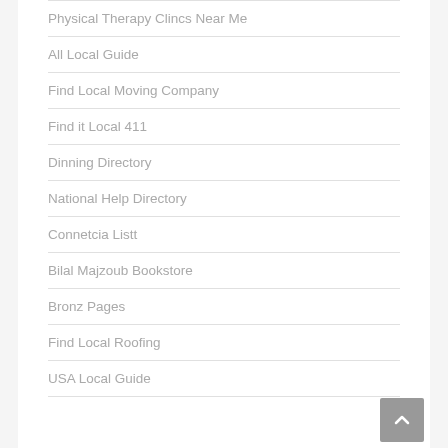Physical Therapy Clincs Near Me
All Local Guide
Find Local Moving Company
Find it Local 411
Dinning Directory
National Help Directory
Connetcia Listt
Bilal Majzoub Bookstore
Bronz Pages
Find Local Roofing
USA Local Guide